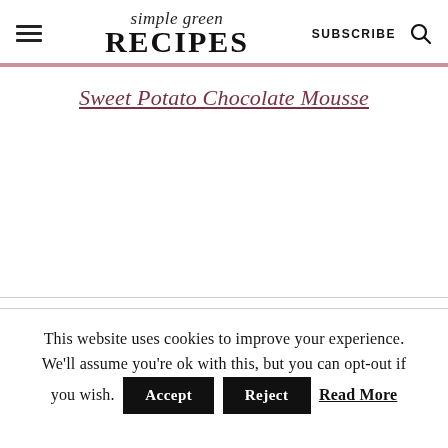simple green RECIPES | SUBSCRIBE
Sweet Potato Chocolate Mousse
This website uses cookies to improve your experience. We'll assume you're ok with this, but you can opt-out if you wish. Accept Reject Read More